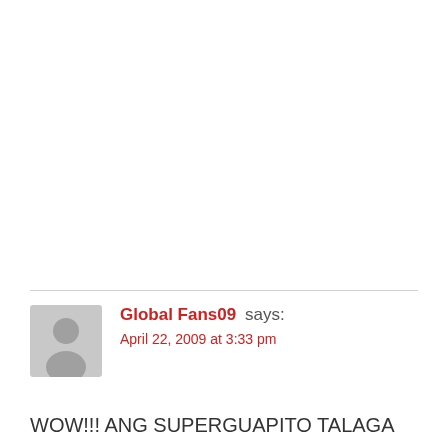Global Fans09 says:
April 22, 2009 at 3:33 pm

WOW!!! ANG SUPERGUAPITO TALAGA NI SAM MILBY KAHIT ANONG ANGULO NYA...XCITED NA KAMING MGA FANS MO SAMUEL MAPANOOD ANG BAGONG